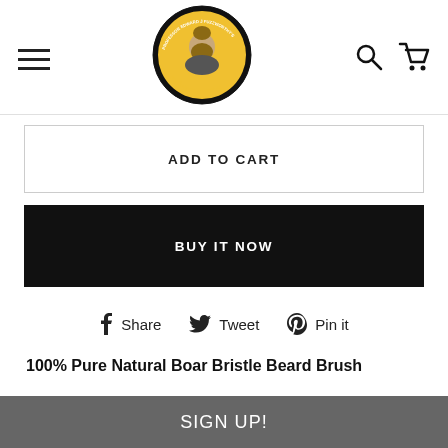[Figure (logo): Professor Edward J Fuzzworthy's Gentleman's Grooming circular logo with bearded man illustration in gold and black]
ADD TO CART
BUY IT NOW
Share  Tweet  Pin it
100% Pure Natural Boar Bristle Beard Brush
Professor Fuzzworthy's Boar Bristle Brush
Stimulates healthy beard growth
SIGN UP!